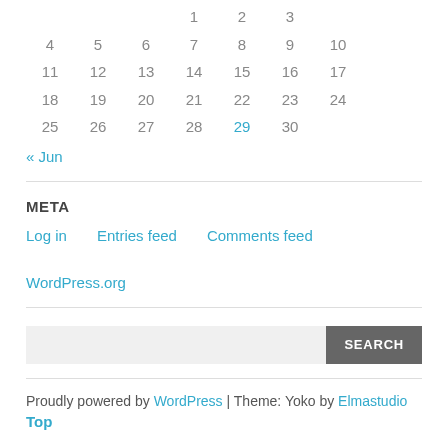|  |  |  | 1 | 2 | 3 |
| 4 | 5 | 6 | 7 | 8 | 9 | 10 |
| 11 | 12 | 13 | 14 | 15 | 16 | 17 |
| 18 | 19 | 20 | 21 | 22 | 23 | 24 |
| 25 | 26 | 27 | 28 | 29 | 30 |  |
« Jun
META
Log in   Entries feed   Comments feed   WordPress.org
Proudly powered by WordPress | Theme: Yoko by Elmastudio
Top